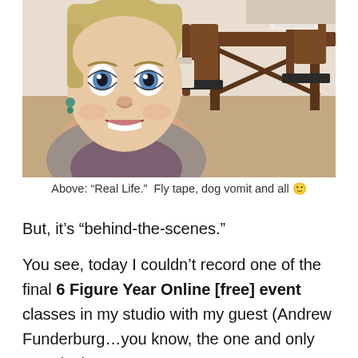[Figure (photo): A woman with wide eyes and an open-mouthed surprised expression taking a selfie. She has light/blonde hair, blue eyes, and is wearing a gray wrap top. In the background is a messy room with chairs, a table with papers, and various items.]
Above: “Real Life.”  Fly tape, dog vomit and all 🙂
But, it’s “behind-the-scenes.”
You see, today I couldn’t record one of the final 6 Figure Year Online [free] event classes in my studio with my guest (Andrew Funderburg…you know, the one and only “Fundy!”).